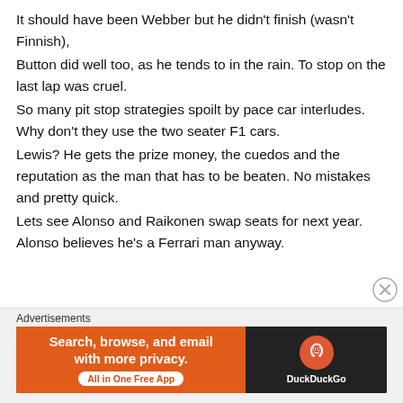It should have been Webber but he didn't finish (wasn't Finnish),
Button did well too, as he tends to in the rain. To stop on the last lap was cruel.
So many pit stop strategies spoilt by pace car interludes. Why don't they use the two seater F1 cars.
Lewis? He gets the prize money, the cuedos and the reputation as the man that has to be beaten. No mistakes and pretty quick.
Lets see Alonso and Raikonen swap seats for next year. Alonso believes he's a Ferrari man anyway.
Advertisements
[Figure (other): DuckDuckGo advertisement banner: 'Search, browse, and email with more privacy. All in One Free App' on orange background with DuckDuckGo logo on dark background.]